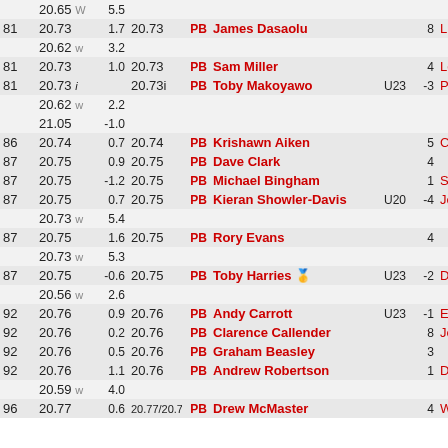| Rank | Time | Wind | PB Time | PB | Name | Cat | Pos | Club |
| --- | --- | --- | --- | --- | --- | --- | --- | --- |
|  | 20.65 W | 5.5 |  |  |  |  |  |  |
| 81 | 20.73 | 1.7 | 20.73 | PB | James Dasaolu |  | 8 | Llo... |
|  | 20.62 w | 3.2 |  |  |  |  |  |  |
| 81 | 20.73 | 1.0 | 20.73 | PB | Sam Miller |  | 4 | Leo... |
| 81 | 20.73 i |  | 20.73i | PB | Toby Makoyawo | U23 | -3 | Pet... |
|  | 20.62 w | 2.2 |  |  |  |  |  |  |
|  | 21.05 | −1.0 |  |  |  |  |  |  |
| 86 | 20.74 | 0.7 | 20.74 | PB | Krishawn Aiken |  | 5 | Ch... |
| 87 | 20.75 | 0.9 | 20.75 | PB | Dave Clark |  | 4 |  |
| 87 | 20.75 | −1.2 | 20.75 | PB | Michael Bingham |  | 1 | Sco... |
| 87 | 20.75 | 0.7 | 20.75 | PB | Kieran Showler-Davis | U20 | −4 | Joh... |
|  | 20.73 w | 5.4 |  |  |  |  |  |  |
| 87 | 20.75 | 1.6 | 20.75 | PB | Rory Evans |  | 4 |  |
|  | 20.73 w | 5.3 |  |  |  |  |  |  |
| 87 | 20.75 | −0.6 | 20.75 | PB | Toby Harries 🥇 | U23 | −2 | Da... |
|  | 20.56 w | 2.6 |  |  |  |  |  |  |
| 92 | 20.76 | 0.9 | 20.76 | PB | Andy Carrott | U23 | −1 | Em... |
| 92 | 20.76 | 0.2 | 20.76 | PB | Clarence Callender |  | 8 | Joh... |
| 92 | 20.76 | 0.5 | 20.76 | PB | Graham Beasley |  | 3 |  |
| 92 | 20.76 | 1.1 | 20.76 | PB | Andrew Robertson |  | 1 | Da... |
|  | 20.59 w | 4.0 |  |  |  |  |  |  |
| 96 | 20.77 | 0.6 | 20.77/20.7 | PB | Drew McMaster |  | 4 | Wi... |